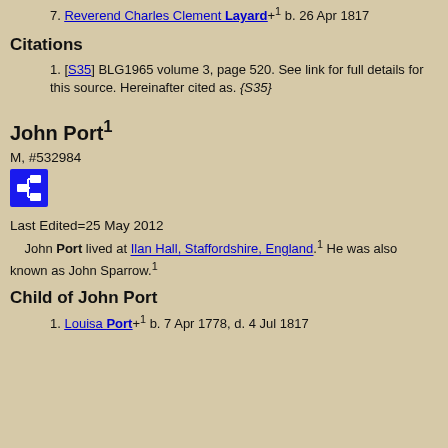7. Reverend Charles Clement Layard+1 b. 26 Apr 1817
Citations
1. [S35] BLG1965 volume 3, page 520. See link for full details for this source. Hereinafter cited as. {S35}
John Port1
M, #532984
[Figure (other): Blue icon button with network/hierarchy symbol]
Last Edited=25 May 2012
John Port lived at Ilan Hall, Staffordshire, England.1 He was also known as John Sparrow.1
Child of John Port
1. Louisa Port+1 b. 7 Apr 1778, d. 4 Jul 1817